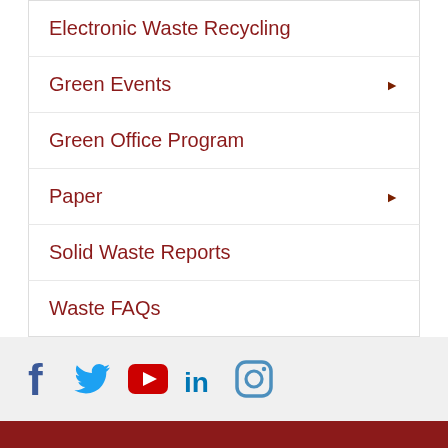Electronic Waste Recycling
Green Events ▶
Green Office Program
Paper ▶
Solid Waste Reports
Waste FAQs
[Figure (illustration): Social media icons: Facebook, Twitter, YouTube, LinkedIn, Instagram]
University of Massachusetts Amherst